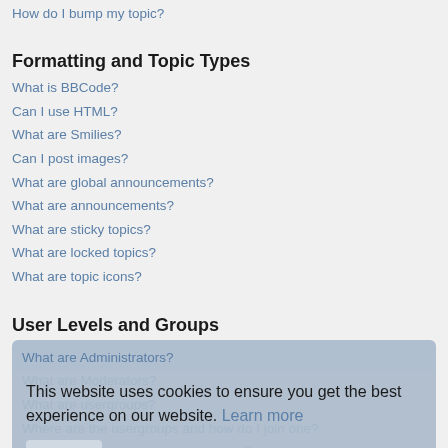How do I bump my topic?
Formatting and Topic Types
What is BBCode?
Can I use HTML?
What are Smilies?
Can I post images?
What are global announcements?
What are announcements?
What are sticky topics?
What are locked topics?
What are topic icons?
User Levels and Groups
What are Administrators?
What are Moderators?
What are usergroups?
Where are the usergroups and how do I join one?
How do I become a usergroup leader?
Why do some usergroups appear in a different colour?
What is a “Default usergroup”?
What is “The team” link?
This website uses cookies to ensure you get the best experience on our website. Learn more